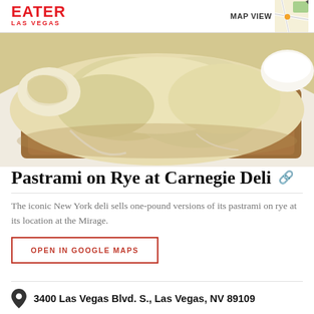EATER LAS VEGAS
[Figure (photo): Close-up photo of a pastrami on rye sandwich covered with melted white cheese on a white plate]
Pastrami on Rye at Carnegie Deli
The iconic New York deli sells one-pound versions of its pastrami on rye at its location at the Mirage.
OPEN IN GOOGLE MAPS
3400 Las Vegas Blvd. S., Las Vegas, NV 89109